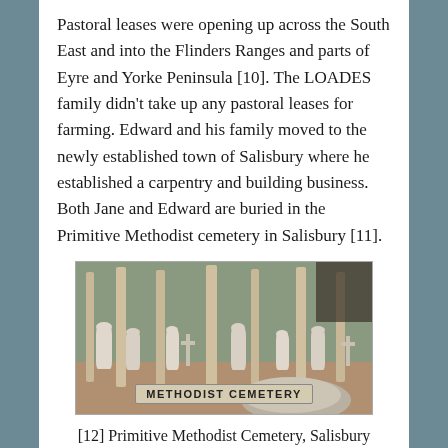Pastoral leases were opening up across the South East and into the Flinders Ranges and parts of Eyre and Yorke Peninsula [10]. The LOADES family didn't take up any pastoral leases for farming. Edward and his family moved to the newly established town of Salisbury where he established a carpentry and building business. Both Jane and Edward are buried in the Primitive Methodist cemetery in Salisbury [11].
[Figure (photo): Photograph of a cemetery with multiple gravestones and trees, with a sign reading 'METHODIST CEMETERY' in the foreground.]
[12] Primitive Methodist Cemetery, Salisbury
Featured Image – part of one of the old building in Port Adelaide or Port Misery as it